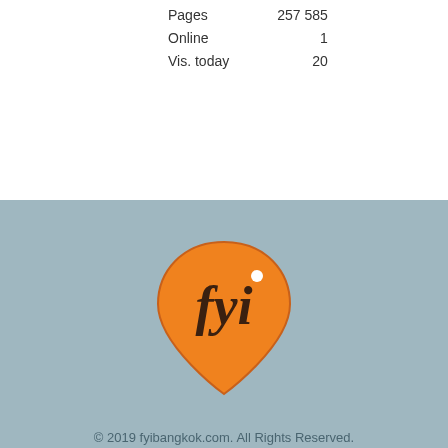| Pages | 257 585 |
| Online | 1 |
| Vis. today | 20 |
[Figure (logo): FYI Bangkok logo — orange teardrop/map-pin shape with 'fyi' text in dark brown, and a small white dot above the i]
© 2019 fyibangkok.com. All Rights Reserved.
[Figure (other): Social media icons row: Facebook, Twitter, Instagram, YouTube — each in a light circular button]